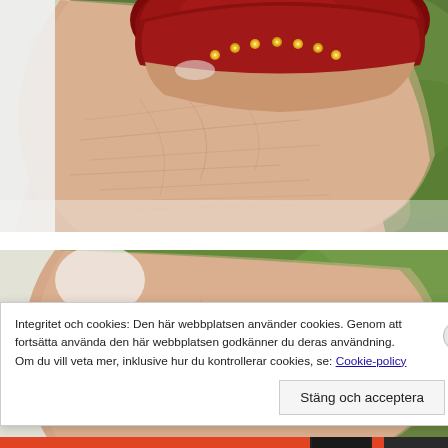[Figure (photo): Close-up macro photo of a finger with a dark red/crimson nail polish decorated with small gold rhinestones at the cuticle area. Skin texture visible with blurred green background.]
[Figure (photo): Second close-up photo of a finger with decorated nail, partially obscured by a cookie consent banner overlay.]
Integritet och cookies: Den här webbplatsen använder cookies. Genom att fortsätta använda den här webbplatsen godkänner du deras användning.
Om du vill veta mer, inklusive hur du kontrollerar cookies, se: Cookie-policy
Stäng och acceptera